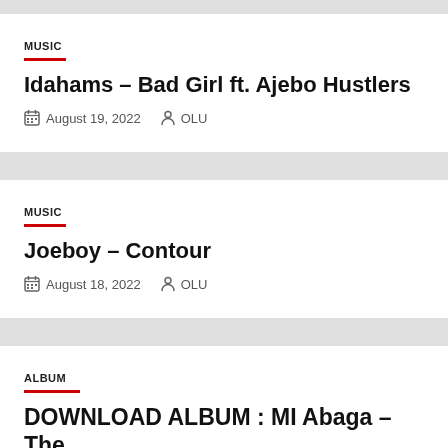MUSIC
Idahams – Bad Girl ft. Ajebo Hustlers
August 19, 2022   OLU
MUSIC
Joeboy – Contour
August 18, 2022   OLU
ALBUM
DOWNLOAD ALBUM : MI Abaga – The